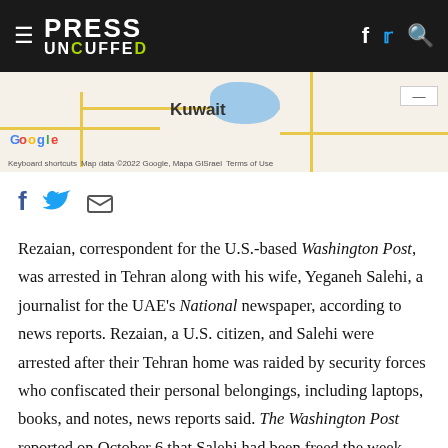PRESS UNCUFFED
[Figure (map): Google Map showing Kuwait city area with road network and water body, with map attribution text at bottom]
[Figure (infographic): Social share icons: Facebook (f), Twitter bird, and email envelope]
Rezaian, correspondent for the U.S.-based Washington Post, was arrested in Tehran along with his wife, Yeganeh Salehi, a journalist for the UAE's National newspaper, according to news reports. Rezaian, a U.S. citizen, and Salehi were arrested after their Tehran home was raided by security forces who confiscated their personal belongings, including laptops, books, and notes, news reports said. The Washington Post reported on October 6 that Salehi had been freed the week before.